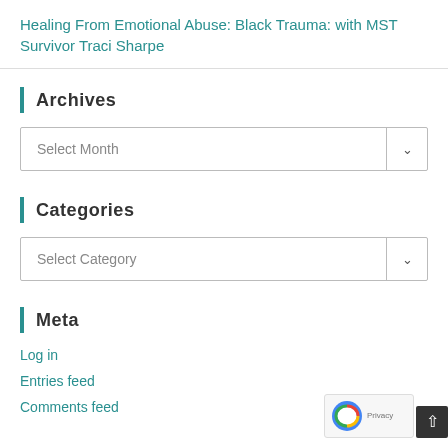Healing From Emotional Abuse: Black Trauma: with MST Survivor Traci Sharpe
Archives
Select Month
Categories
Select Category
Meta
Log in
Entries feed
Comments feed